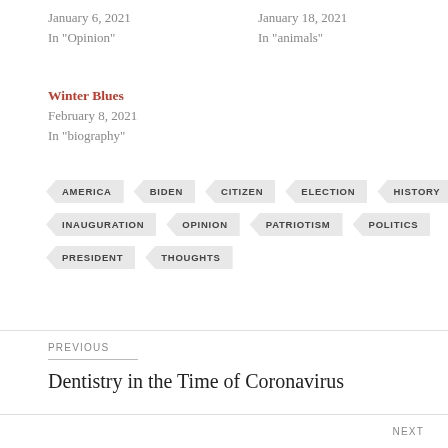January 6, 2021
In "Opinion"
January 18, 2021
In "animals"
Winter Blues
February 8, 2021
In "biography"
AMERICA
BIDEN
CITIZEN
ELECTION
HISTORY
INAUGURATION
OPINION
PATRIOTISM
POLITICS
PRESIDENT
THOUGHTS
PREVIOUS
Dentistry in the Time of Coronavirus
NEXT